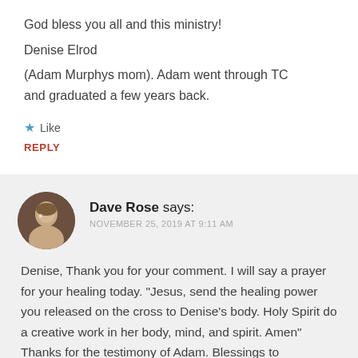God bless you all and this ministry!
Denise Elrod
(Adam Murphys mom). Adam went through TC and graduated a few years back.
★ Like
REPLY
Dave Rose says:
NOVEMBER 25, 2019 AT 9:11 AM
Denise, Thank you for your comment. I will say a prayer for your healing today. "Jesus, send the healing power you released on the cross to Denise's body. Holy Spirit do a creative work in her body, mind, and spirit. Amen" Thanks for the testimony of Adam. Blessings to